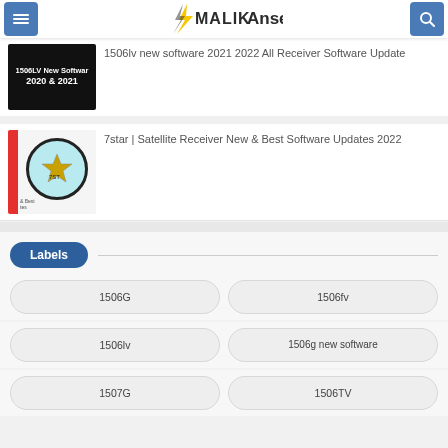MalikAnser
[Figure (screenshot): Thumbnail for 1506LV New Software 2020 & 2021 article]
1506lv new software 2021 2022 All Receiver Software Update
[Figure (screenshot): Thumbnail for 7star satellite receiver article with star logo]
7star | Satellite Receiver New & Best Software Updates 2022
Labels
1506G
1506fv
1506lv
1506g new software
1507G
1506TV